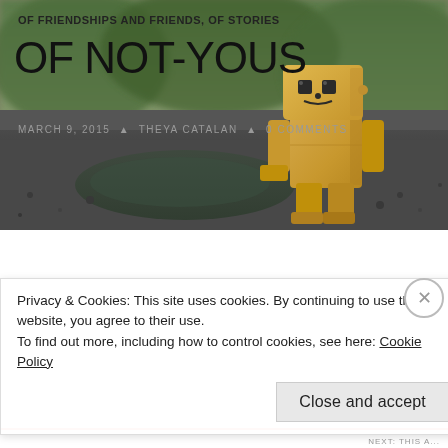[Figure (photo): A cardboard box robot figure (Danbo) standing on wet asphalt/gravel near a puddle, looking downward. Blurred green trees in the background. Moody, rainy atmosphere.]
OF FRIENDSHIPS AND FRIENDS, OF STORIES
OF NOT-YOUS
MARCH 9, 2015  •  THEYA CATALAN  •  0 COMMENTS
Privacy & Cookies: This site uses cookies. By continuing to use this website, you agree to their use.
To find out more, including how to control cookies, see here: Cookie Policy
Close and accept